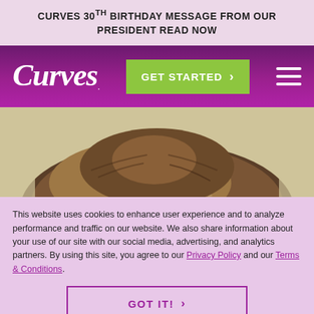CURVES 30TH BIRTHDAY MESSAGE FROM OUR PRESIDENT READ NOW
[Figure (logo): Curves website navigation bar with Curves logo in white cursive script on purple background, green GET STARTED button with arrow, and hamburger menu icon]
[Figure (photo): Close-up photo of top of a woman's head with brown hair, cropped to show only the hair and forehead area, on a light beige/cream background]
This website uses cookies to enhance user experience and to analyze performance and traffic on our website. We also share information about your use of our site with our social media, advertising, and analytics partners. By using this site, you agree to our Privacy Policy and our Terms & Conditions.
GOT IT! >